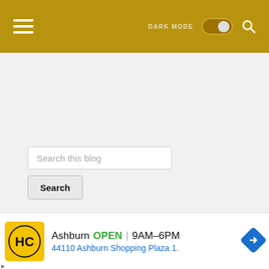Menu | DARK MODE toggle | Search
[Figure (screenshot): Search this blog input field with Search button below]
RECENT POST
[Figure (screenshot): Dropdown tab with chevron]
[Figure (infographic): Ad banner: HC logo, Ashburn OPEN 9AM-6PM, 44110 Ashburn Shopping Plaza 1., navigation icon]